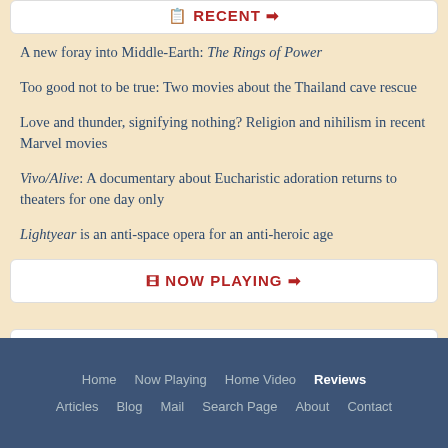RECENT
A new foray into Middle-Earth: The Rings of Power
Too good not to be true: Two movies about the Thailand cave rescue
Love and thunder, signifying nothing? Religion and nihilism in recent Marvel movies
Vivo/Alive: A documentary about Eucharistic adoration returns to theaters for one day only
Lightyear is an anti-space opera for an anti-heroic age
NOW PLAYING
HOME VIDEO
Home  Now Playing  Home Video  Reviews  Articles  Blog  Mail  Search Page  About  Contact